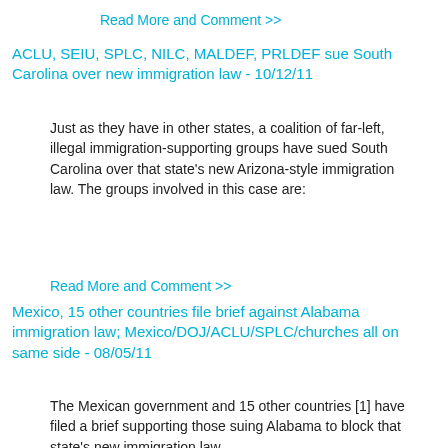Read More and Comment >>
ACLU, SEIU, SPLC, NILC, MALDEF, PRLDEF sue South Carolina over new immigration law - 10/12/11
Just as they have in other states, a coalition of far-left, illegal immigration-supporting groups have sued South Carolina over that state's new Arizona-style immigration law. The groups involved in this case are:
Read More and Comment >>
Mexico, 15 other countries file brief against Alabama immigration law; Mexico/DOJ/ACLU/SPLC/churches all on same side - 08/05/11
The Mexican government and 15 other countries [1] have filed a brief supporting those suing Alabama to block that state's new immigration law.
Read More and Comment >>
SPLC, ACLU, NILC sue Alabama over new immigration law (HB56) - 07/09/11
Just as they have in other states, a coalition of far-left groups have sued Alabama over that state's new Arizona-style immigration law.